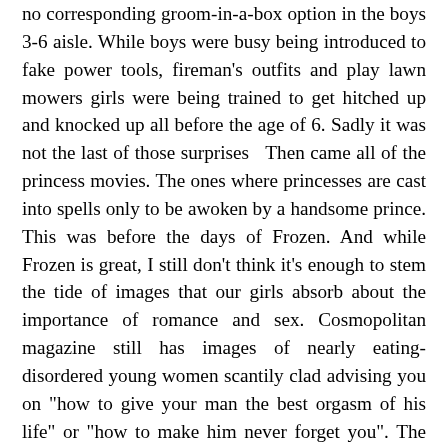no corresponding groom-in-a-box option in the boys 3-6 aisle. While boys were busy being introduced to fake power tools, fireman's outfits and play lawn mowers girls were being trained to get hitched up and knocked up all before the age of 6. Sadly it was not the last of those surprises  Then came all of the princess movies. The ones where princesses are cast into spells only to be awoken by a handsome prince. This was before the days of Frozen. And while Frozen is great, I still don't think it's enough to stem the tide of images that our girls absorb about the importance of romance and sex. Cosmopolitan magazine still has images of nearly eating-disordered young women scantily clad advising you on "how to give your man the best orgasm of his life" or "how to make him never forget you". The emphasis is still on a woman in relation to a man rather than as a stand-alone person. It's no wonder that MORE girls don't grow up to be love or sex addicts.